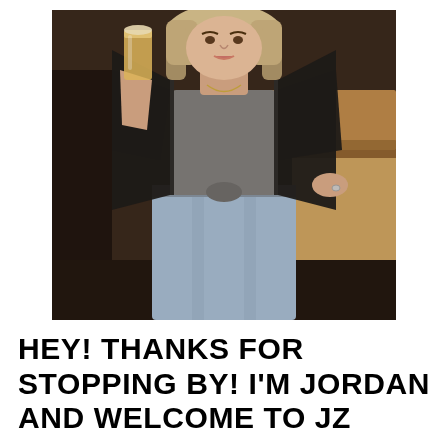[Figure (photo): A woman with blonde hair holding up a glass of amber beer at a bar or brewery. She is wearing a gray knotted t-shirt, light wash jeans, and a black leather jacket. The background shows a warm-lit bar interior with wooden counters and bar stools.]
HEY! THANKS FOR STOPPING BY! I'M JORDAN AND WELCOME TO JZ